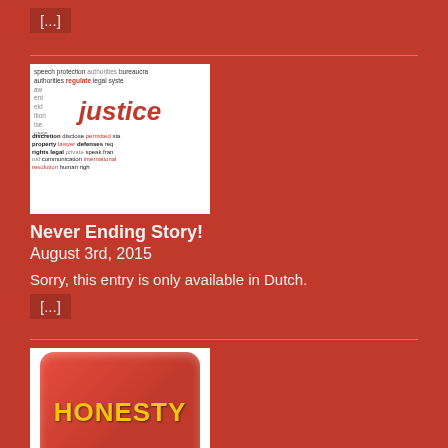[...]
[Figure (photo): Word cloud image with legal terms including 'justice' prominently in red]
Never Ending Story!
August 3rd, 2015
Sorry, this entry is only available in Dutch.
[...]
[Figure (photo): Red speech bubble button with yellow text reading HONESTY]